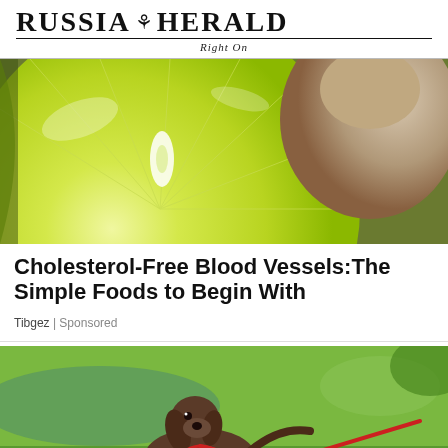RUSSIA HERALD — RIGHT ON
[Figure (photo): Close-up of a sliced lime/citrus fruit with bright yellow-green flesh, seeds visible, next to whole fruit in background]
Cholesterol-Free Blood Vessels:The Simple Foods to Begin With
Tibgez | Sponsored
[Figure (photo): A Weimaraner dog on a red leash standing on green grass outdoors]